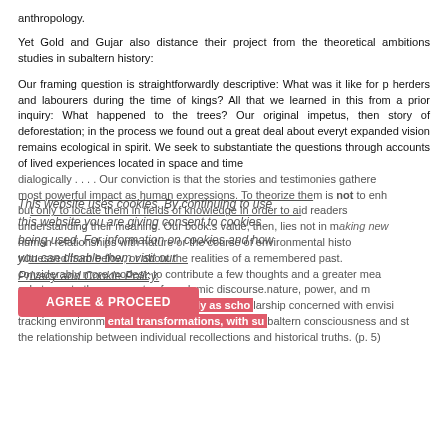anthropology.
Yet Gold and Gujar also distance their project from the theoretical ambitions studies in subaltern history:
Our framing question is straightforwardly descriptive: What was it like for p herders and labourers during the time of kings? All that we learned in this from a prior inquiry: What happened to the trees? Our original impetus, then story of deforestation; in the process we found out a great deal about everyt expanded vision remains ecological in spirit. We seek to substantiate the questions through accounts of lived experiences located in space and time dialogically . . . . Our conviction is that the stories and testimonies gathere most powerful impact as human expressions. To theorize them is not to enh but only to locate them in fields of knowledge in order to aid readers understanding their meaning. Our book.s value, then, lies not in making new human relationships with nature or the course of environmental histo witnessed from below, or about the realities of a remembered past. considerably more modest: to contribute a few thoughts and a greater mea substance to three currents of academic discourse.nature, power, and m characterize these more expansively as scholarship concerned with envisi tracking environmental transformations, with subaltern consciousness and st the relationship between individual recollections and historical truths. (p. 5)